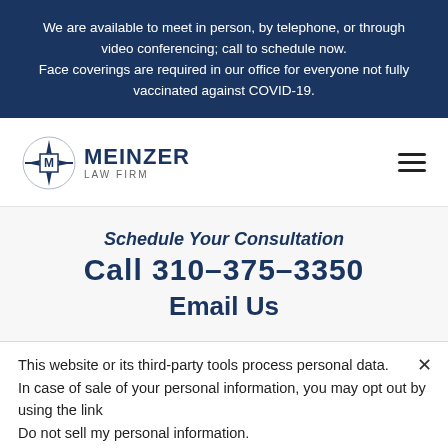We are available to meet in person, by telephone, or through video conferencing; call to schedule now. Face coverings are required in our office for everyone not fully vaccinated against COVID-19.
[Figure (logo): Meinzer Law Firm logo with compass-star icon and bold MEINZER text]
Schedule Your Consultation
Call 310-375-3350
Email Us
This website or its third-party tools process personal data.
In case of sale of your personal information, you may opt out by using the link
Do not sell my personal information.